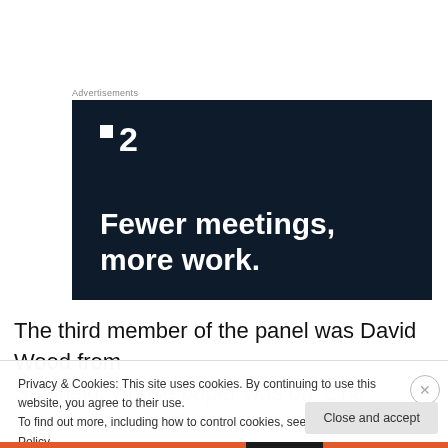Advertisements
[Figure (advertisement): Dark navy advertisement banner for a project management tool. Shows a logo with two small white squares and the number '2', and large white bold text reading 'Fewer meetings, more work.']
The third member of the panel was David Wood from Sheffield, whose paper was on 'One Hundred Years of
Privacy & Cookies: This site uses cookies. By continuing to use this website, you agree to their use.
To find out more, including how to control cookies, see here: Cookie Policy
Close and accept